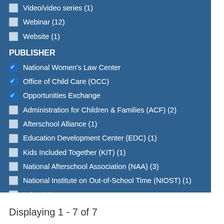Video/video series (1)
Webinar (12)
Website (1)
PUBLISHER
National Women's Law Center
Office of Child Care (OCC)
Opportunities Exchange
Administration for Children & Families (ACF) (2)
Afterschool Alliance (1)
Education Development Center (EDC) (1)
Kids Included Together (KIT) (1)
National Afterschool Association (NAA) (3)
National Institute on Out-of-School Time (NIOST) (1)
Other (1)
The Wallace Foundation (3)
Displaying 1 - 7 of 7